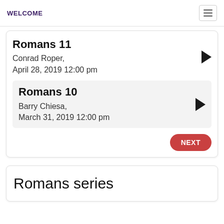WELCOME
Romans 11
Conrad Roper,
April 28, 2019 12:00 pm
Romans 10
Barry Chiesa,
March 31, 2019 12:00 pm
NEXT
Romans series